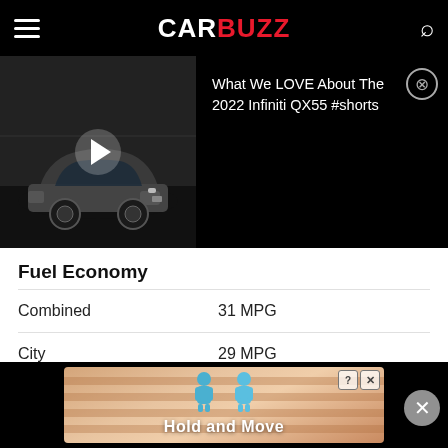CARBUZZ
[Figure (screenshot): Video thumbnail of 2022 Infiniti QX55 with play button, alongside title text 'What We LOVE About The 2022 Infiniti QX55 #shorts' on black background]
Fuel Economy
|  |  |
| --- | --- |
| Combined | 31 MPG |
| City | 29 MPG |
| Highway | 35 MPG |
Fuel Tank
[Figure (screenshot): Advertisement banner showing 'Hold and Move' game with cartoon characters, with close buttons]